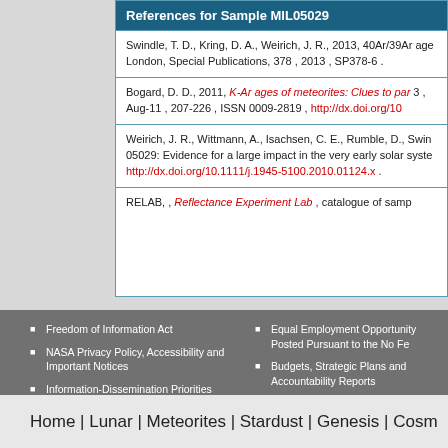References for Sample MIL05029
Swindle, T. D., Kring, D. A., Weirich, J. R., 2013, 40Ar/39Ar ages of impacts involving ordinary chondrite meteorites, Geological Society of London, Special Publications, 378 , 2013 , SP378-6 .
Bogard, D. D., 2011, K-Ar ages of meteorites: Clues to parent-body thermal histories, Chemie der Erde, 71 , 3 , Aug-11 , 207-226 , ISSN 0009-2819 , http://dx.doi.org/10...
Weirich, J. R., Wittmann, A., Isachsen, C. E., Rumble, D., Swindle... 05029: Evidence for a large impact in the very early solar system... http://dx.doi.org/10.1111/j.1945-5100.2010.01124.x .
RELAB, , Reflectance Experiment Lab , catalogue of samples...
Freedom of Information Act
NASA Privacy Policy, Accessibility and Important Notices
Information-Dissemination Priorities and Inventories
Equal Employment Opportunity Posted Pursuant to the No Fe...
Budgets, Strategic Plans and Accountability Reports
USA.gov
Download Adobe Reader
Home | Lunar | Meteorites | Stardust | Genesis | Cosm...